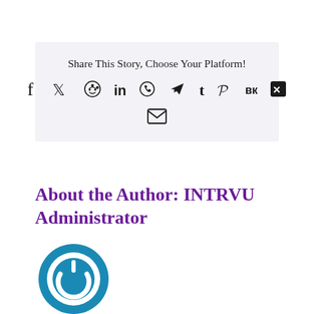Share This Story, Choose Your Platform!
[Figure (infographic): Row of social media sharing icons: Facebook, Twitter, Reddit, LinkedIn, WhatsApp, Telegram, Tumblr, Pinterest, VK, Xing, and Email]
About the Author: INTRVU Administrator
[Figure (logo): INTRVU Administrator circular power button logo in teal/blue colors]